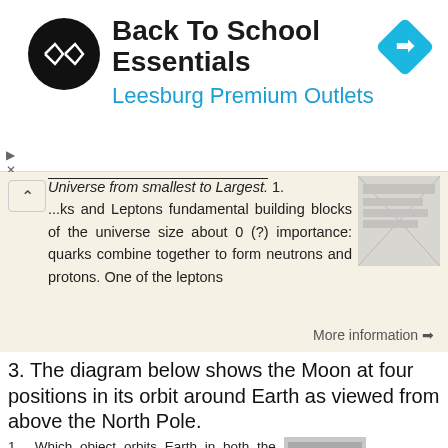[Figure (screenshot): Advertisement banner for Back To School Essentials at Leesburg Premium Outlets with logo and navigation icon]
Universe from smallest to Largest. 1. ...ks and Leptons fundamental building blocks of the universe size about 0 (?) importance: quarks combine together to form neutrons and protons. One of the leptons
More information →
3. The diagram below shows the Moon at four positions in its orbit around Earth as viewed from above the North Pole.
1. Which object orbits Earth in both the Earth-centered (geocentric) and Sun-centered (heliocentric) models of our solar system? (1) Polaris (3) the Sun (2) Venus (4) the Moon 2. A cycle of Moon phases